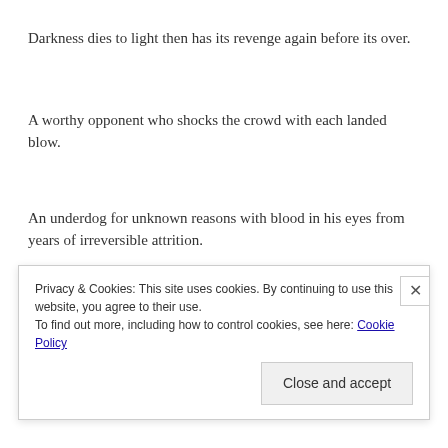Darkness dies to light then has its revenge again before its over.
A worthy opponent who shocks the crowd with each landed blow.
An underdog for unknown reasons with blood in his eyes from years of irreversible attrition.
The only fight worth a damn to hands untouched.
Privacy & Cookies: This site uses cookies. By continuing to use this website, you agree to their use.
To find out more, including how to control cookies, see here: Cookie Policy
Close and accept